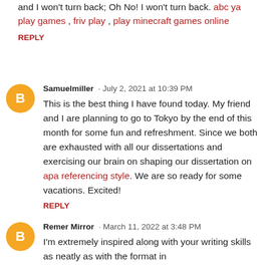and I won't turn back; Oh No! I won't turn back. abc ya play games , friv play , play minecraft games online
REPLY
Samuelmiller · July 2, 2021 at 10:39 PM
This is the best thing I have found today. My friend and I are planning to go to Tokyo by the end of this month for some fun and refreshment. Since we both are exhausted with all our dissertations and exercising our brain on shaping our dissertation on apa referencing style. We are so ready for some vacations. Excited!
REPLY
Remer Mirror · March 11, 2022 at 3:48 PM
I'm extremely inspired along with your writing skills as neatly as with the format in